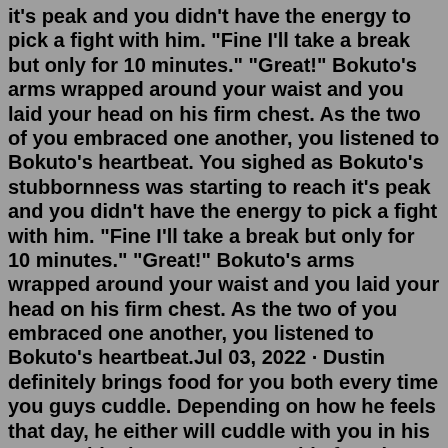it's peak and you didn't have the energy to pick a fight with him. "Fine I'll take a break but only for 10 minutes." "Great!" Bokuto's arms wrapped around your waist and you laid your head on his firm chest. As the two of you embraced one another, you listened to Bokuto's heartbeat. You sighed as Bokuto's stubbornness was starting to reach it's peak and you didn't have the energy to pick a fight with him. "Fine I'll take a break but only for 10 minutes." "Great!" Bokuto's arms wrapped around your waist and you laid your head on his firm chest. As the two of you embraced one another, you listened to Bokuto's heartbeat.Jul 03, 2022 · Dustin definitely brings food for you both every time you guys cuddle. Depending on how he feels that day, he either will cuddle with you in his arms or him in your arms. But his favorite cuddling position is him being the little spoon. If he's in your arms he likes burying his face in your chest. If you're in his arms he likes to play with ... #amamirantarou #bf #boyfriendscenarios #danganronpa #danganronpav3 #gokuharagonta #